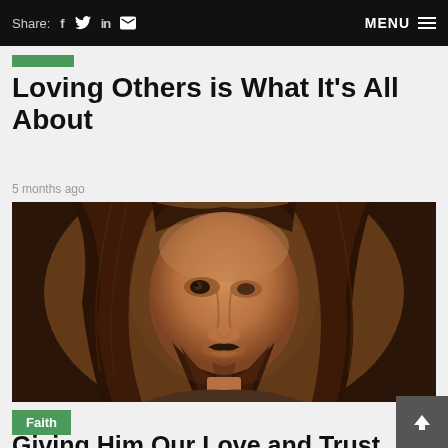Share: f  in  [mail]   MENU
Loving Others is What It's All About
5 months ago
[Figure (illustration): Classical painting portrait of a bearded man with long hair, reminiscent of Renaissance-style depictions of Jesus Christ, rendered in warm brown and amber tones.]
Faith
Giving Him Our Love and Trust